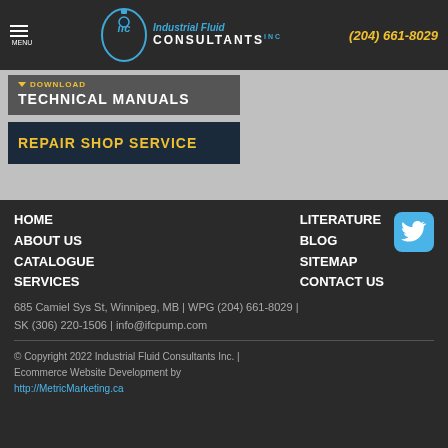[Figure (logo): Industrial Fluid Consultants Inc. logo with IFC emblem and text]
(204) 661-8029
DOWNLOAD TECHNICAL MANUALS
REPAIR SHOP SERVICE
HOME
ABOUT US
CATALOGUE
SERVICES
LITERATURE
BLOG
SITEMAP
CONTACT US
685 Camiel Sys St, Winnipeg, MB | WPG (204) 661-8029 | SK (306) 220-1506 | info@ifcpump.com
© Copyright 2022 Industrial Fluid Consultants Inc. | Ecommerce Website Development by http://MetricMarketing.ca